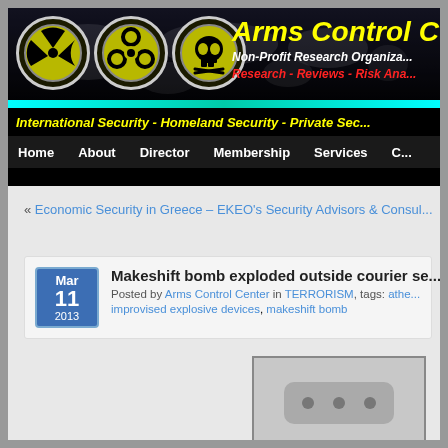Arms Control Center - Non-Profit Research Organization - Research - Reviews - Risk Analysis - International Security - Homeland Security - Private Security
Home | About | Director | Membership | Services | C...
« Economic Security in Greece – EKEO's Security Advisors & Consul...
Makeshift bomb exploded outside courier se...
Posted by Arms Control Center in TERRORISM, tags: athe... improvised explosive devices, makeshift bomb
[Figure (photo): Placeholder image with three dots, representing a media embed or video thumbnail]